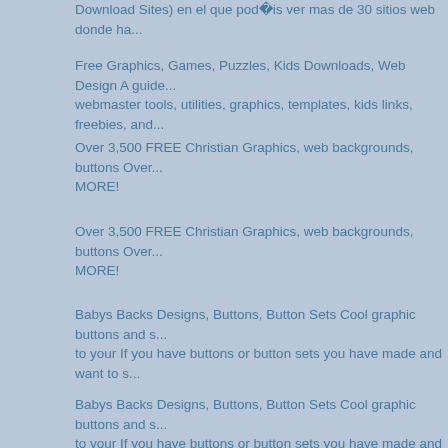Download Sites) en el que pod�is ver mas de 30 sitios web donde ha...
Free Graphics, Games, Puzzles, Kids Downloads, Web Design A guide... webmaster tools, utilities, graphics, templates, kids links, freebies, and...
Over 3,500 FREE Christian Graphics, web backgrounds, buttons Over... MORE!
Over 3,500 FREE Christian Graphics, web backgrounds, buttons Over... MORE!
Babys Backs Designs, Buttons, Button Sets Cool graphic buttons and s... to your If you have buttons or button sets you have made and want to s...
Babys Backs Designs, Buttons, Button Sets Cool graphic buttons and s... to your If you have buttons or button sets you have made and want to s...
Webs To Go Free scripts, games, templates, and downloads $8.95! We... free registration, also selling tons of templates and websites, like ezaud...
Page 1 - Royalty-free Cartoon Styled Clipart Graphics Page 1 - Print qu... The clipart images featured on this page are all available to use in
All free backgrounds at BackgroundCity.Com Backgrounds for your w...